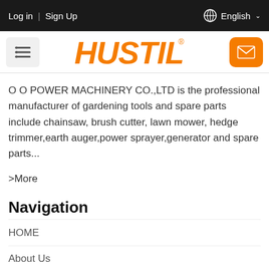Log in | Sign Up    English
[Figure (logo): HUSTIL brand logo in orange italic bold font with registered trademark symbol, flanked by a menu icon button on the left and an envelope/mail icon button on the right]
O O POWER MACHINERY CO.,LTD is the professional manufacturer of gardening tools and spare parts include chainsaw, brush cutter, lawn mower, hedge trimmer,earth auger,power sprayer,generator and spare parts...
>More
Navigation
HOME
About Us
Quality
Products